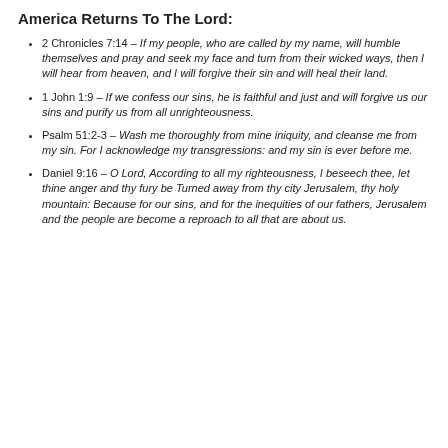America Returns To The Lord:
2 Chronicles 7:14 – If my people, who are called by my name, will humble themselves and pray and seek my face and turn from their wicked ways, then I will hear from heaven, and I will forgive their sin and will heal their land.
1 John 1:9 – If we confess our sins, he is faithful and just and will forgive us our sins and purify us from all unrighteousness.
Psalm 51:2-3 – Wash me thoroughly from mine iniquity, and cleanse me from my sin. For I acknowledge my transgressions: and my sin is ever before me.
Daniel 9:16 – O Lord, According to all my righteousness, I beseech thee, let thine anger and thy fury be Turned away from thy city Jerusalem, thy holy mountain: Because for our sins, and for the inequities of our fathers, Jerusalem and the people are become a reproach to all that are about us.